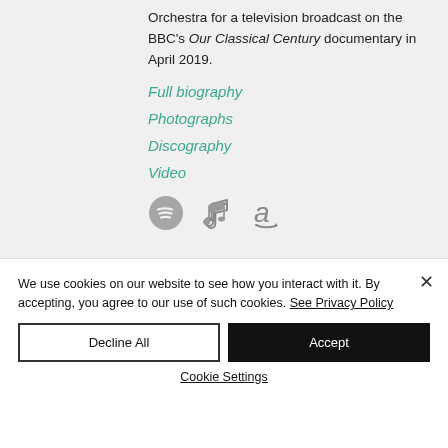Orchestra for a television broadcast on the BBC's Our Classical Century documentary in April 2019.
Full biography
Photographs
Discography
Video
[Figure (other): Streaming service icons: Spotify, Apple Music (music note), Amazon]
We use cookies on our website to see how you interact with it. By accepting, you agree to our use of such cookies. See Privacy Policy
Decline All
Accept
Cookie Settings